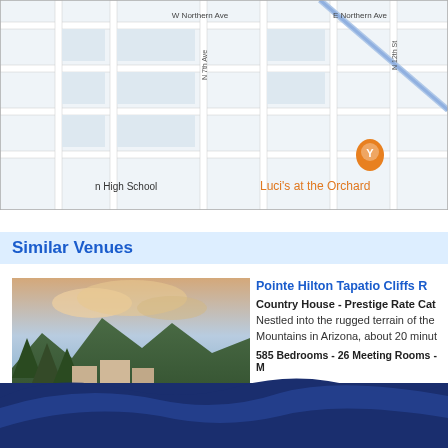[Figure (map): Google Maps partial view showing street map with 'Luci's at the Orchard' location marker, streets including W Northern Ave, E Northern Ave, N 7th Ave, N 12th St visible, with a restaurant pin icon]
Similar Venues
[Figure (photo): Aerial/landscape photo of Pointe Hilton Tapatio Cliffs Resort showing mountainous terrain with resort buildings nestled in rugged hills at dusk/sunset]
[Figure (photo): Thumbnail of resort pool area]
[Figure (photo): Thumbnail of resort interior/meeting room]
[Figure (photo): Thumbnail of outdoor resort area]
Pointe Hilton Tapatio Cliffs R
Country House - Prestige Rate Cat
Nestled into the rugged terrain of the Mountains in Arizona, about 20 minut
585 Bedrooms - 26 Meeting Rooms - M